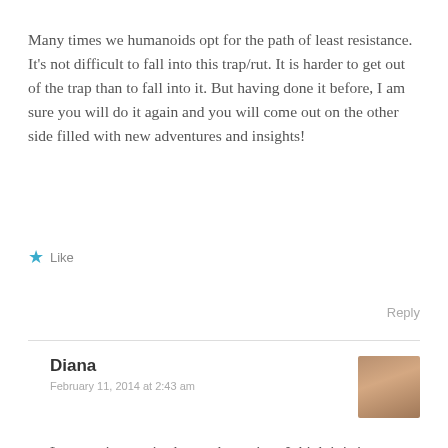Many times we humanoids opt for the path of least resistance. It’s not difficult to fall into this trap/rut. It is harder to get out of the trap than to fall into it. But having done it before, I am sure you will do it again and you will come out on the other side filled with new adventures and insights!
★ Like
Reply
Diana
February 11, 2014 at 2:43 am
Least resistance is always the easiest. I think it is in our nature to naturally just go for the low-hanging fruit. And, you are right, it is definitely very difficult to get out of it once entangled in that life. I